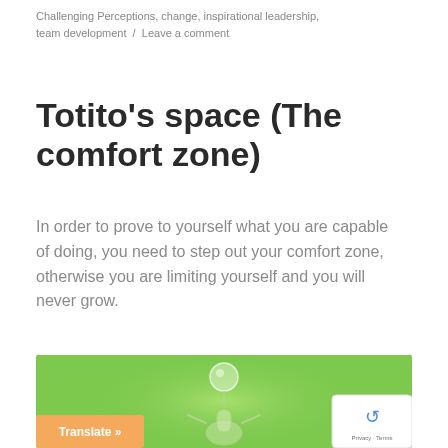Challenging Perceptions, change, inspirational leadership, team development / Leave a comment
Totito’s space (The comfort zone)
In order to prove to yourself what you are capable of doing, you need to step out your comfort zone, otherwise you are limiting yourself and you will never grow.
[Figure (illustration): Green background illustration showing a figure with a bubble above its head, representing stepping out of one's comfort zone. An orange 'Translate »' button overlays the bottom-left, and a reCAPTCHA widget appears bottom-right.]